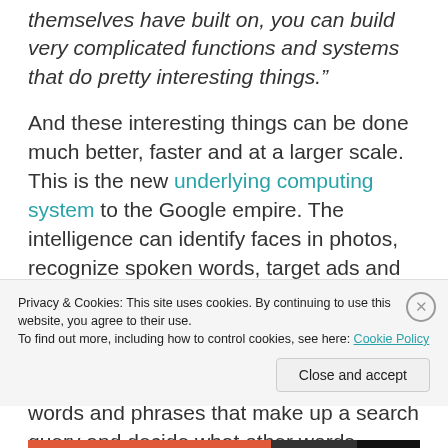themselves have built on, you can build very complicated functions and systems that do pretty interesting things.”
And these interesting things can be done much better, faster and at a larger scale. This is the new underlying computing system to the Google empire. The intelligence can identify faces in photos, recognize spoken words, target ads and much, much more. AI can handle search queries much better than algorithms coded by hand. RankBrain, Google’s deep learning system, helps analyze the words and phrases that make up a search query and decide what other words
Privacy & Cookies: This site uses cookies. By continuing to use this website, you agree to their use.
To find out more, including how to control cookies, see here: Cookie Policy